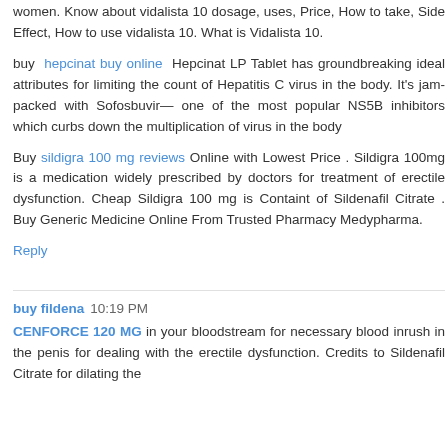women. Know about vidalista 10 dosage, uses, Price, How to take, Side Effect, How to use vidalista 10. What is Vidalista 10.
buy hepcinat buy online Hepcinat LP Tablet has groundbreaking ideal attributes for limiting the count of Hepatitis C virus in the body. It's jam-packed with Sofosbuvir— one of the most popular NS5B inhibitors which curbs down the multiplication of virus in the body
Buy sildigra 100 mg reviews Online with Lowest Price . Sildigra 100mg is a medication widely prescribed by doctors for treatment of erectile dysfunction. Cheap Sildigra 100 mg is Containt of Sildenafil Citrate . Buy Generic Medicine Online From Trusted Pharmacy Medypharma.
Reply
buy fildena  10:19 PM
CENFORCE 120 MG in your bloodstream for necessary blood inrush in the penis for dealing with the erectile dysfunction. Credits to Sildenafil Citrate for dilating the